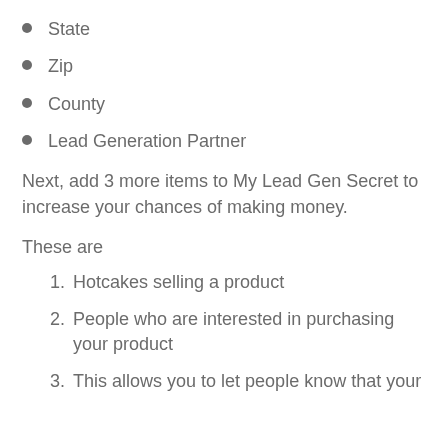State
Zip
County
Lead Generation Partner
Next, add 3 more items to My Lead Gen Secret to increase your chances of making money.
These are
1. Hotcakes selling a product
2. People who are interested in purchasing your product
3. This allows you to let people know that your